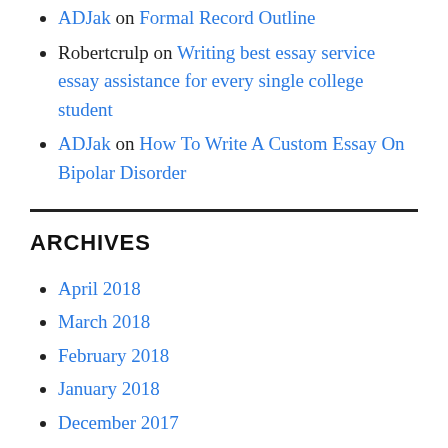ADJak on Formal Record Outline
Robertcrulp on Writing best essay service essay assistance for every single college student
ADJak on How To Write A Custom Essay On Bipolar Disorder
ARCHIVES
April 2018
March 2018
February 2018
January 2018
December 2017